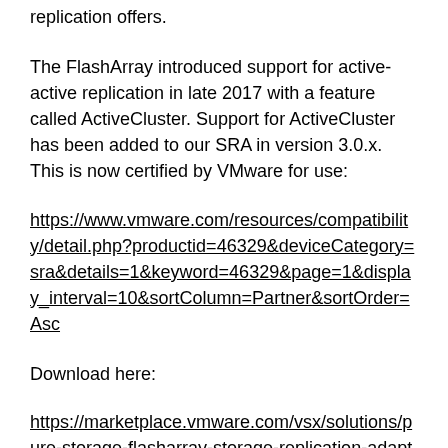replication offers.
The FlashArray introduced support for active-active replication in late 2017 with a feature called ActiveCluster. Support for ActiveCluster has been added to our SRA in version 3.0.x. This is now certified by VMware for use:
https://www.vmware.com/resources/compatibility/detail.php?productid=46329&deviceCategory=sra&details=1&keyword=46329&page=1&display_interval=10&sortColumn=Partner&sortOrder=Asc
Download here:
https://marketplace.vmware.com/vsx/solutions/pure-storage-flasharray-storage-replication-adapter-3-0